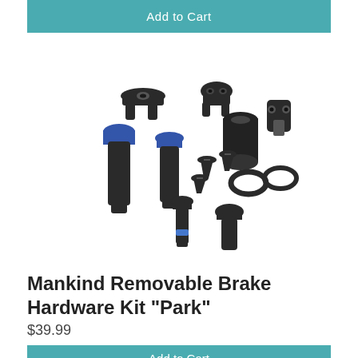Add to Cart
[Figure (photo): Collection of Mankind Removable Brake Hardware Kit Park components including bolts, screws, cable stops, and small hardware pieces, predominantly black with some blue accents, scattered on a white background.]
Mankind Removable Brake Hardware Kit "Park"
$39.99
Add to Cart